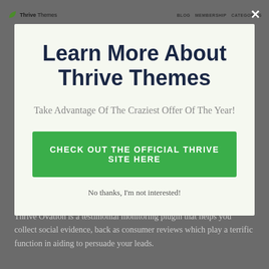Thrive Themes | BLOG MEMBERSHIP CATEGORIES
Learn More About Thrive Themes
Take Advantage Of The Craziest Offer Of The Year!
CHECK OUT THE OFFICIAL THRIVE SITE HERE
No thanks, I'm not interested!
Thrive Ovation is a testimonial monitoring plugin that helps you collect social evidence, back as consumer reviews which play a terrific function in aiding to persuade your leads.